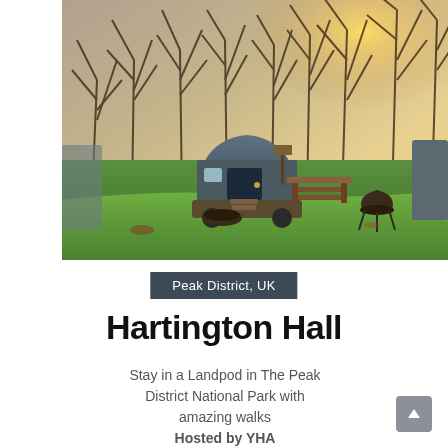[Figure (photo): Outdoor glamping scene at Hartington Hall in the Peak District, UK. Shows a Landpod (barrel-shaped accommodation pod with blue door and canvas cover) on green grass surrounded by bare winter trees. A picnic table and fire pit/BBQ are visible. Warm sunlight filters through the trees in the background.]
Peak District, UK
Hartington Hall
Stay in a Landpod in The Peak District National Park with amazing walks
Hosted by YHA